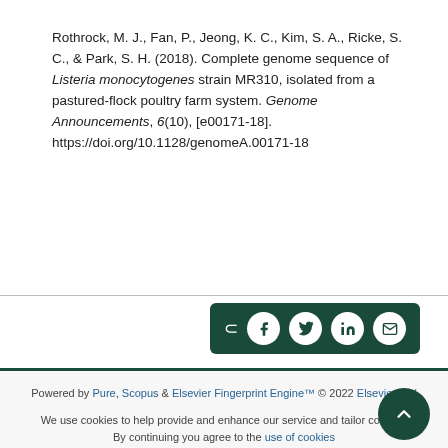Rothrock, M. J., Fan, P., Jeong, K. C., Kim, S. A., Ricke, S. C., & Park, S. H. (2018). Complete genome sequence of Listeria monocytogenes strain MR310, isolated from a pastured-flock poultry farm system. Genome Announcements, 6(10), [e00171-18]. https://doi.org/10.1128/genomeA.00171-18
[Figure (other): Dark green share bar with share icon and social media buttons: Facebook, Twitter, LinkedIn, Email]
Powered by Pure, Scopus & Elsevier Fingerprint Engine™ © 2022 Elsevier B.V
We use cookies to help provide and enhance our service and tailor content. By continuing you agree to the use of cookies
Log in to Pure
About web accessibility